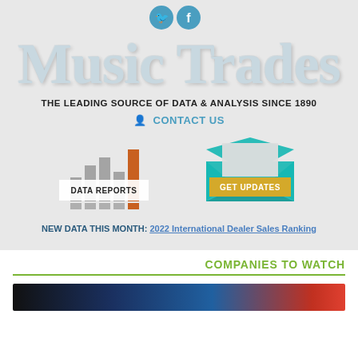[Figure (illustration): Two circular social media icons (Twitter bird and Facebook f) in teal/blue color]
Music Trades
THE LEADING SOURCE OF DATA & ANALYSIS SINCE 1890
CONTACT US
[Figure (illustration): DATA REPORTS button with bar chart icon (grey and orange bars) on left; GET UPDATES button with open envelope icon (teal) on right]
NEW DATA THIS MONTH: 2022 International Dealer Sales Ranking
COMPANIES TO WATCH
[Figure (photo): Dark banner image at bottom, appears to show a performance or event with blue and red lighting]